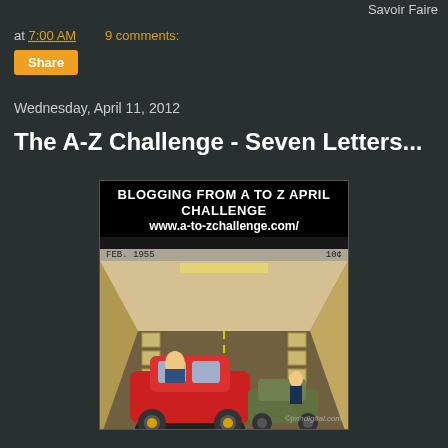Savoir Faire
at 7:00 AM   9 comments:
Share
Wednesday, April 11, 2012
The A-Z Challenge - Seven Letters...
[Figure (illustration): A-to-Z April Challenge promotional image styled as a vintage 1955 comic book cover, showing a tunnel chase scene with cars. Banner reads 'Blogging from A to Z April Challenge www.a-to-zchallenge.com/'. Bottom left reads 'FEB. 1955', bottom right '10¢'. Copyright jmhdigital.com]